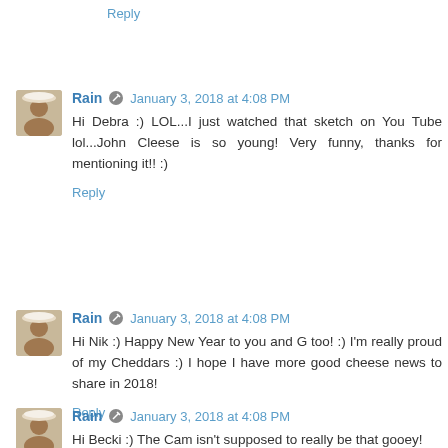Reply
Rain  January 3, 2018 at 4:08 PM
Hi Debra :) LOL...I just watched that sketch on You Tube lol...John Cleese is so young! Very funny, thanks for mentioning it!! :)
Reply
Rain  January 3, 2018 at 4:08 PM
Hi Nik :) Happy New Year to you and G too! :) I'm really proud of my Cheddars :) I hope I have more good cheese news to share in 2018!
Reply
Rain  January 3, 2018 at 4:08 PM
Hi Becki :) The Cam isn't supposed to really be that gooey!